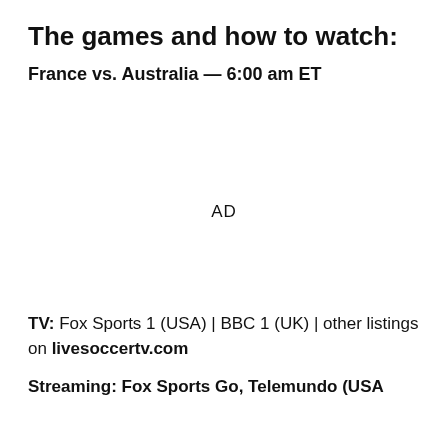The games and how to watch:
France vs. Australia — 6:00 am ET
AD
TV: Fox Sports 1 (USA) | BBC 1 (UK) | other listings on livesoccertv.com
Streaming: Fox Sports Go, Telemundo (USA